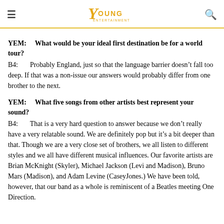Young Entertainment
YEM: What would be your ideal first destination be for a world tour?
B4: Probably England, just so that the language barrier doesn't fall too deep. If that was a non-issue our answers would probably differ from one brother to the next.
YEM: What five songs from other artists best represent your sound?
B4: That is a very hard question to answer because we don't really have a very relatable sound. We are definitely pop but it's a bit deeper than that. Though we are a very close set of brothers, we all listen to different styles and we all have different musical influences. Our favorite artists are Brian McKnight (Skyler), Michael Jackson (Levi and Madison), Bruno Mars (Madison), and Adam Levine (CaseyJones.) We have been told, however, that our band as a whole is reminiscent of a Beatles meeting One Direction.